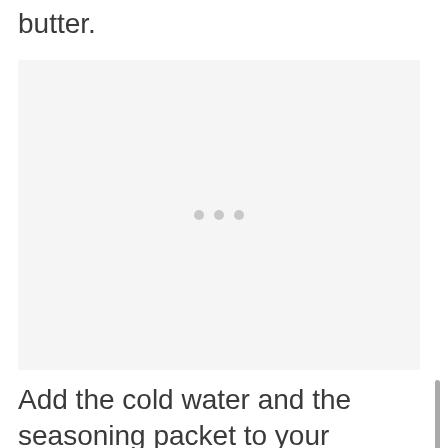butter.
[Figure (photo): Image placeholder with loading dots indicator on a light gray background]
Add the cold water and the seasoning packet to your melted butter. Stir and